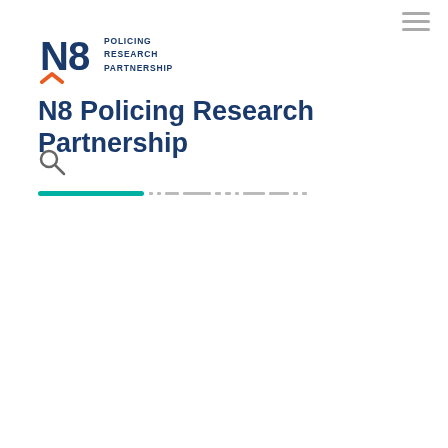[Figure (logo): N8 Policing Research Partnership logo with N8 letters in blue and orange chevron, alongside text POLICING RESEARCH PARTNERSHIP]
N8 Policing Research Partnership
[Figure (other): Search icon (magnifying glass)]
[Figure (other): Navigation bar with teal active indicator and dashed inactive items]